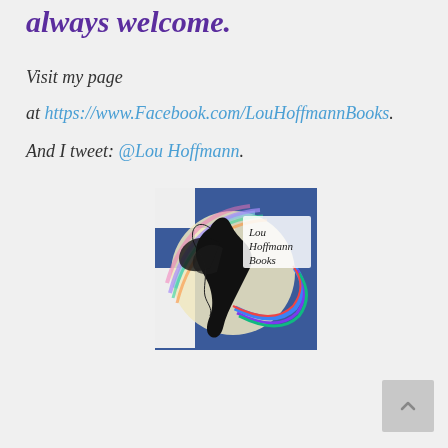always welcome.
Visit my page
at https://www.Facebook.com/LouHoffmannBooks.
And I tweet: @Lou Hoffmann.
[Figure (logo): Lou Hoffmann Books logo — a dragon silhouette flying over a colorful circular design on a blue and white checkered background, with text 'Lou Hoffmann Books']